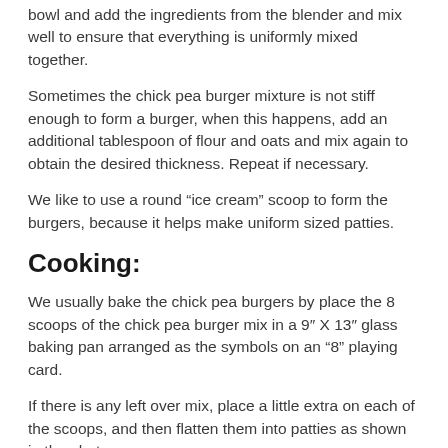bowl and add the ingredients from the blender and mix well to ensure that everything is uniformly mixed together.
Sometimes the chick pea burger mixture is not stiff enough to form a burger, when this happens, add an additional tablespoon of flour and oats and mix again to obtain the desired thickness. Repeat if necessary.
We like to use a round “ice cream” scoop to form the burgers, because it helps make uniform sized patties.
Cooking:
We usually bake the chick pea burgers by place the 8 scoops of the chick pea burger mix in a 9″ X 13″ glass baking pan arranged as the symbols on an “8” playing card.
If there is any left over mix, place a little extra on each of the scoops, and then flatten them into patties as shown in the photo.
You can also cook the burgers on a grill. And if this is the case, then it is best to place 4 scoops of the mix on each of 2 square pieces of wax paper and flatten them as above. Then place each set of 4 burgers on a plate and place the plates in the refrigerator for 30 to 60 minutes before you plan to grill them. We do this because it will firm